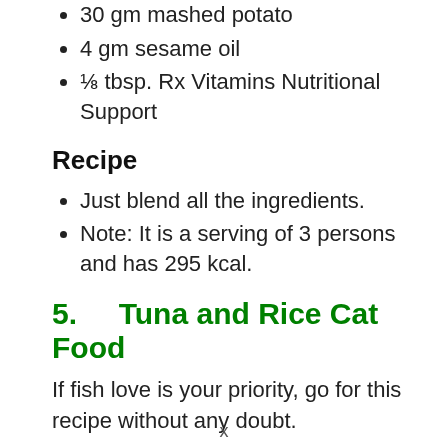30 gm mashed potato
4 gm sesame oil
⅛ tbsp. Rx Vitamins Nutritional Support
Recipe
Just blend all the ingredients.
Note: It is a serving of 3 persons and has 295 kcal.
5.    Tuna and Rice Cat Food
If fish love is your priority, go for this recipe without any doubt.
x